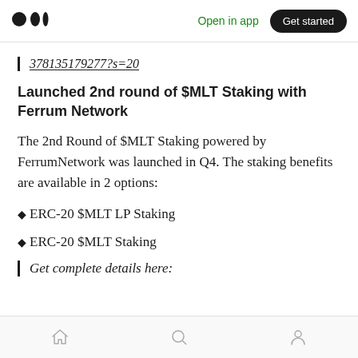Medium — Open in app | Get started
378135179277?s=20
Launched 2nd round of $MLT Staking with Ferrum Network
The 2nd Round of $MLT Staking powered by FerrumNetwork was launched in Q4. The staking benefits are available in 2 options:
♦ERC-20 $MLT LP Staking
♦ERC-20 $MLT Staking
Get complete details here:
Home | Search | Profile